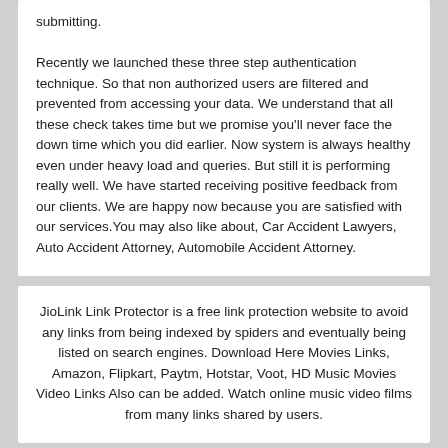submitting.

Recently we launched these three step authentication technique. So that non authorized users are filtered and prevented from accessing your data. We understand that all these check takes time but we promise you'll never face the down time which you did earlier. Now system is always healthy even under heavy load and queries. But still it is performing really well. We have started receiving positive feedback from our clients. We are happy now because you are satisfied with our services.You may also like about, Car Accident Lawyers, Auto Accident Attorney, Automobile Accident Attorney.
JioLink Link Protector is a free link protection website to avoid any links from being indexed by spiders and eventually being listed on search engines. Download Here Movies Links, Amazon, Flipkart, Paytm, Hotstar, Voot, HD Music Movies Video Links Also can be added. Watch online music video films from many links shared by users.
© MYSAVELINKS 2020
Privacy Policy   Terms   Faqs   Dmca Copyright